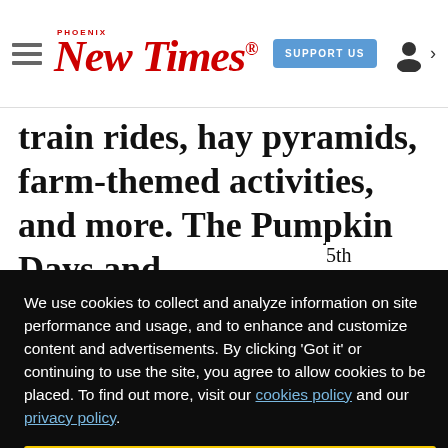Phoenix New Times — navigation bar with hamburger menu, logo, SUPPORT US button, and user icon
train rides, hay pyramids, farm-themed activities, and more. The Pumpkin Days and
5th … n. to 8 … o 11 … 8 p.m. … an … , … nson … Center
We use cookies to collect and analyze information on site performance and usage, and to enhance and customize content and advertisements. By clicking 'Got it' or continuing to use the site, you agree to allow cookies to be placed. To find out more, visit our cookies policy and our privacy policy.
Got it!
Herberger Luhrs Anne Theater's 2018-19